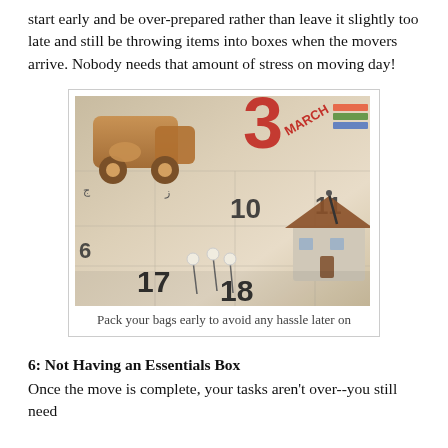start early and be over-prepared rather than leave it slightly too late and still be throwing items into boxes when the movers arrive. Nobody needs that amount of stress on moving day!
[Figure (photo): A close-up photo of a calendar with wooden toy figures including a miniature house and a toy truck, along with three white-headed pins sticking into the calendar on dates 17 and 18. Calendar shows March, with numbers 3, 10, 11, 17, 18 visible.]
Pack your bags early to avoid any hassle later on
6: Not Having an Essentials Box
Once the move is complete, your tasks aren't over--you still need to unpack and clean. It may take a few days or a full like long...